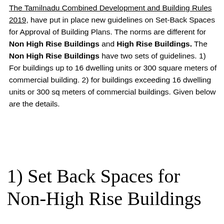The Tamilnadu Combined Development and Building Rules 2019, have put in place new guidelines on Set-Back Spaces for Approval of Building Plans. The norms are different for Non High Rise Buildings and High Rise Buildings. The Non High Rise Buildings have two sets of guidelines. 1) For buildings up to 16 dwelling units or 300 square meters of commercial building. 2) for buildings exceeding 16 dwelling units or 300 sq meters of commercial buildings. Given below are the details.
1) Set Back Spaces for Non-High Rise Buildings